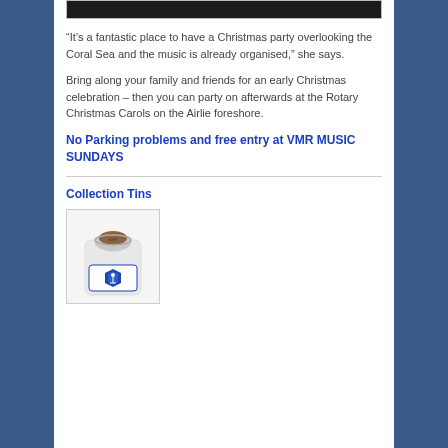[Figure (photo): Dark photo partially visible at top of page, appears to be an outdoor scene]
“It’s a fantastic place to have a Christmas party overlooking the Coral Sea and the music is already organised,” she says.
Bring along your family and friends for an early Christmas celebration – then you can party on afterwards at the Rotary Christmas Carols on the Airlie foreshore.
No Parking problems and free entry at VMR MUSIC SUNDAYS
Collection Tins
[Figure (photo): A collection tin/jar with coins and a VMR logo label on it]